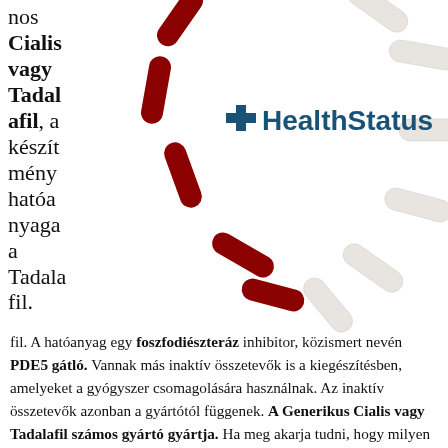nos Cialis vagy Tadalafil, a készítmény hatóanyaga a Tadalafil.
[Figure (photo): Circular arrangement of red and white capsule pills with HealthStatus logo in the center]
A hatóanyag egy foszfodiészteráz inhibitor, közismert nevén PDE5 gátló. Vannak más inaktív összetevők is a kiegészítésben, amelyeket a gyógyszer csomagolására használnak. Az inaktív összetevők azonban a gyártótól függenek. A Generikus Cialis vagy Tadalafil számos gyártó gyártja. Ha meg akarja tudni, hogy milyen inaktív